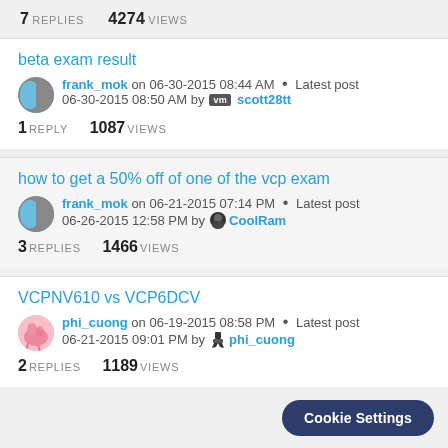7 REPLIES   4274 VIEWS
beta exam result
frank_mok on 06-30-2015 08:44 AM . Latest post 06-30-2015 08:50 AM by scott28tt
1 REPLY   1087 VIEWS
how to get a 50% off of one of the vcp exam
frank_mok on 06-21-2015 07:14 PM . Latest post 06-26-2015 12:58 PM by CoolRam
3 REPLIES   1466 VIEWS
VCPNV610 vs VCP6DCV
phi_cuong on 06-19-2015 08:58 PM . Latest post 06-21-2015 09:01 PM by phi_cuong
2 REPLIES   1189 VIEWS
Cookie Settings